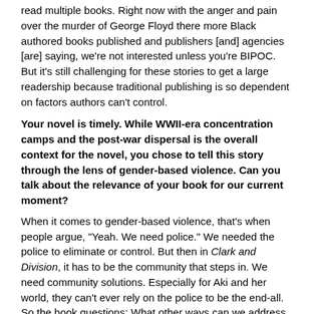read multiple books. Right now with the anger and pain over the murder of George Floyd there more Black authored books published and publishers [and] agencies [are] saying, we're not interested unless you're BIPOC. But it's still challenging for these stories to get a large readership because traditional publishing is so dependent on factors authors can't control.
Your novel is timely. While WWII-era concentration camps and the post-war dispersal is the overall context for the novel, you chose to tell this story through the lens of gender-based violence. Can you talk about the relevance of your book for our current moment?
When it comes to gender-based violence, that's when people argue, "Yeah. We need police." We needed the police to eliminate or control. But then in Clark and Division, it has to be the community that steps in. We need community solutions. Especially for Aki and her world, they can't ever rely on the police to be the end-all. So the book questions: What other ways can we address violence like this?
I love how you left the ending unresolved. Can you tell us what is next for Aki?